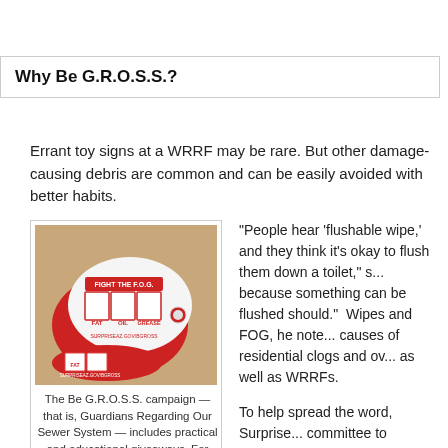Why Be G.R.O.S.S.?
Errant toy signs at a WRRF may be rare. But other damage-causing debris are common and can be easily avoided with better habits.
[Figure (photo): Red and white promotional key fob/scraper items for the 'Fight the F.O.G.' campaign showing Fat, Oil, Grease cartoon characters and the website surpriseaz.gov/BGROSS]
The Be G.R.O.S.S. campaign — that is, Guardians Regarding Our Sewer System — includes practical and educational giveaways. For example, these creative
“People hear ‘flushable wipe,’ and they think it’s okay to flush them down a toilet,” s... because something can be flushed doesn’t mean it should.”  Wipes and FOG, he note... causes of residential clogs and ov... as well as WRRFs.
To help spread the word, Surprise... committee to brainstorm messaging... methods of community outreach. T... campaign that includes supervilla... representing Fat, Oil, and Grease,... factual messages (e.g., “Dental flo...